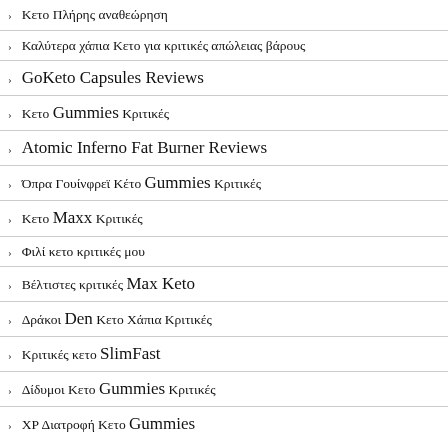Κετο Πλήρης αναθεώρηση
Καλύτερα χάπια Κετο για κριτικές απώλειας βάρους
GoKeto Capsules Reviews
Κετο Gummies Κριτικές
Atomic Inferno Fat Burner Reviews
Όπρα Γουίνφρεϊ Κέτο Gummies Κριτικές
Κετο Maxx Κριτικές
Φιλί κετο κριτικές μου
Βέλτιστες κριτικές Max Keto
Δράκοι Den Κετο Χάπια Κριτικές
Κριτικές κετο SlimFast
Δίδυμοι Κετο Gummies Κριτικές
ΧΡ Διατροφή Κετο Gummies